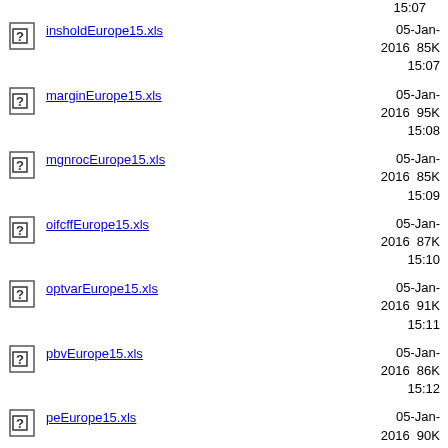15:07
insholdEurope15.xls  05-Jan-2016  85K  15:07
marginEurope15.xls  05-Jan-2016  95K  15:08
mgnrocEurope15.xls  05-Jan-2016  85K  15:09
oifcffEurope15.xls  05-Jan-2016  87K  15:10
optvarEurope15.xls  05-Jan-2016  91K  15:11
pbvEurope15.xls  05-Jan-2016  86K  15:12
peEurope15.xls  05-Jan-2016  90K  15:12
05-Jan-2016